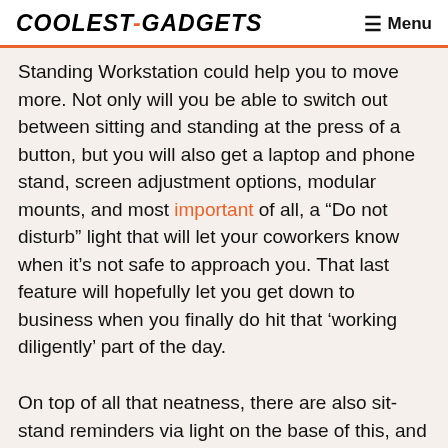COOLEST-GADGETS   ☰ Menu
Standing Workstation could help you to move more. Not only will you be able to switch out between sitting and standing at the press of a button, but you will also get a laptop and phone stand, screen adjustment options, modular mounts, and most important of all, a “Do not disturb” light that will let your coworkers know when it’s not safe to approach you. That last feature will hopefully let you get down to business when you finally do hit that ‘working diligently’ part of the day.
On top of all that neatness, there are also sit-stand reminders via light on the base of this, and tracking through an app to let you start